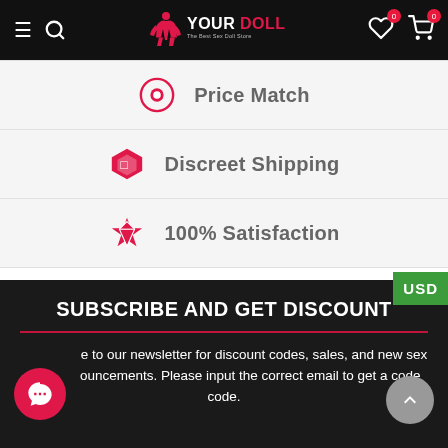YourDoll - The Best Sex Doll Store
Price Match
Discreet Shipping
100% Satisfaction
SUBSCRIBE AND GET DISCOUNT
Subscribe to our newsletter for discount codes, sales, and new sex doll announcements. Please input the correct email to get a coupon code.